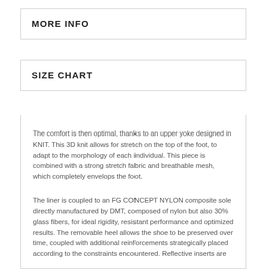MORE INFO
SIZE CHART
The comfort is then optimal, thanks to an upper yoke designed in KNIT. This 3D knit allows for stretch on the top of the foot, to adapt to the morphology of each individual. This piece is combined with a strong stretch fabric and breathable mesh, which completely envelops the foot.
The liner is coupled to an FG CONCEPT NYLON composite sole directly manufactured by DMT, composed of nylon but also 30% glass fibers, for ideal rigidity, resistant performance and optimized results. The removable heel allows the shoe to be preserved over time, coupled with additional reinforcements strategically placed according to the constraints encountered. Reflective inserts are